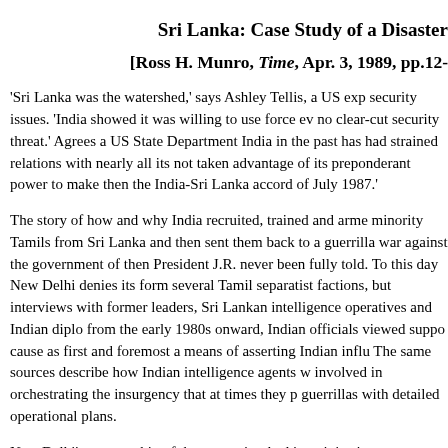Sri Lanka: Case Study of a Disaster
[Ross H. Munro, Time, Apr. 3, 1989, pp.12-
‘Sri Lanka was the watershed,’ says Ashley Tellis, a US exp security issues. ‘India showed it was willing to use force ev no clear-cut security threat.’ Agrees a US State Department India in the past has had strained relations with nearly all its not taken advantage of its preponderant power to make then the India-Sri Lanka accord of July 1987.’
The story of how and why India recruited, trained and arme minority Tamils from Sri Lanka and then sent them back to a guerrilla war against the government of then President J.R. never been fully told. To this day New Delhi denies its form several Tamil separatist factions, but interviews with former leaders, Sri Lankan intelligence operatives and Indian diplo from the early 1980s onward, Indian officials viewed suppo cause as first and foremost a means of asserting Indian influ The same sources describe how Indian intelligence agents w involved in orchestrating the insurgency that at times they p guerrillas with detailed operational plans.
New Delhi’s sponsorship of the separatists had its origins in